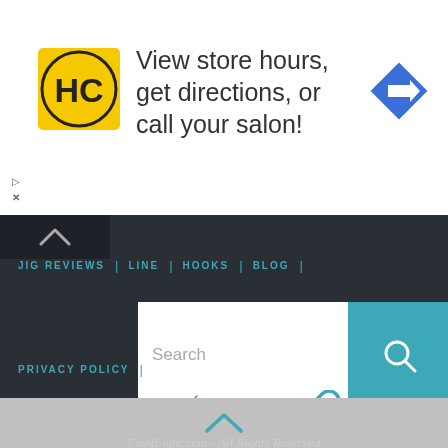[Figure (screenshot): Advertisement banner: HC salon logo, text 'View store hours, get directions, or call your salon!', blue navigation arrow icon]
JIG REVIEWS | LINE | HOOKS | BLOG
[Figure (screenshot): Search box with teal search button]
PRIVACY POLICY |
[Figure (screenshot): Social media icons: Facebook, Twitter, Google+, link]
FishtFight.com - All Rights Reserved
Powered by Fluida & WordPress.
[Figure (screenshot): Bottom grey panel with chevron up arrow]